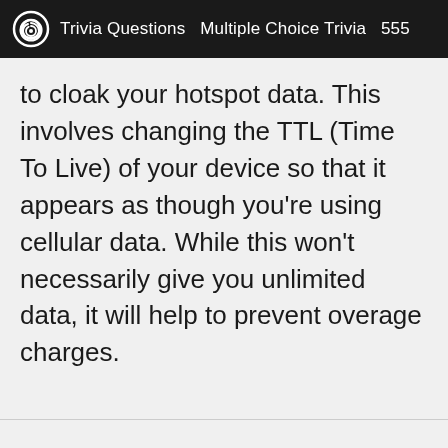Trivia Questions  Multiple Choice Trivia  555
to cloak your hotspot data. This involves changing the TTL (Time To Live) of your device so that it appears as though you're using cellular data. While this won't necessarily give you unlimited data, it will help to prevent overage charges.